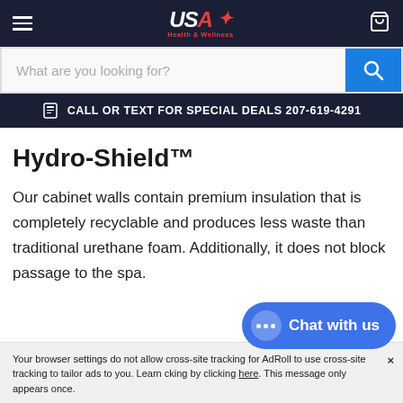USA Health & Wellness - navigation header with hamburger menu, logo, and cart icon
What are you looking for?
CALL OR TEXT FOR SPECIAL DEALS 207-619-4291
Hydro-Shield™
Our cabinet walls contain premium insulation that is completely recyclable and produces less waste than traditional urethane foam. Additionally, it does not block passage to the spa.
Your browser settings do not allow cross-site tracking for AdRoll to use cross-site tracking to tailor ads to you. Learn by clicking here. This message only appears once.